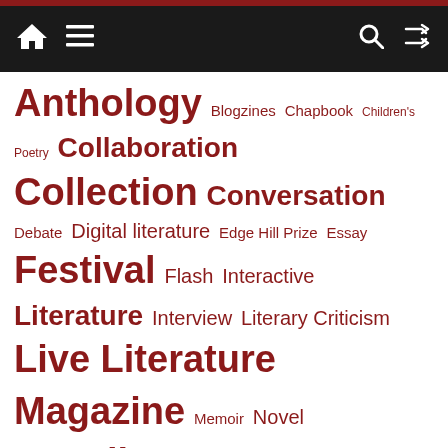Navigation bar with home, menu, search, and shuffle icons
Anthology Blogzines Chapbook Children's Poetry Collaboration Collection Conversation Debate Digital literature Edge Hill Prize Essay Festival Flash Interactive Literature Interview Literary Criticism Live Literature Magazine Memoir Novel Novella Novella-in-Flash Object Online Magazine Opportunities pamphlet Pamphlets Panel Discussion Place Writing Play of Voices Podcast Poetry Saboteur Awards Seasonal/End of year Short Stories Slider Spoken Word Study Text Talks